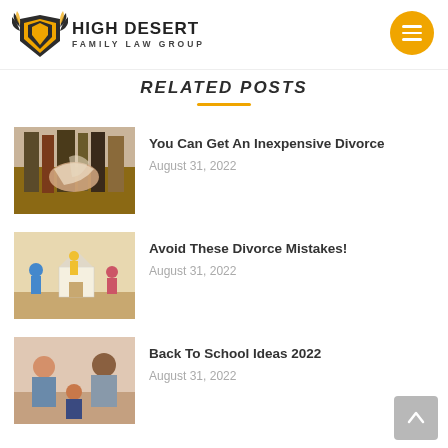High Desert Family Law Group
RELATED POSTS
[Figure (photo): Person flipping through pages of a book in a library setting]
You Can Get An Inexpensive Divorce
August 31, 2022
[Figure (photo): Small figurines of family members with miniature house representing divorce custody]
Avoid These Divorce Mistakes!
August 31, 2022
[Figure (photo): Family sitting together - couple with child]
Back To School Ideas 2022
August 31, 2022